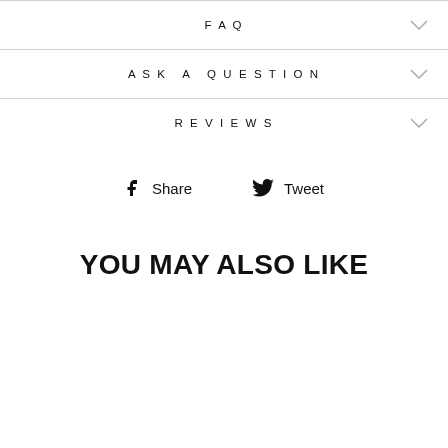FAQ
ASK A QUESTION
REVIEWS
Share  Tweet
YOU MAY ALSO LIKE